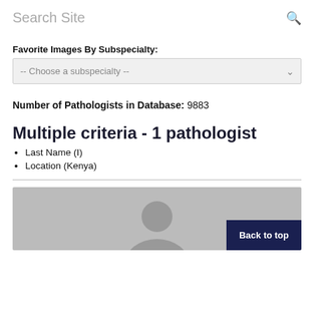Search Site
Favorite Images By Subspecialty:
-- Choose a subspecialty --
Number of Pathologists in Database: 9883
Multiple criteria - 1 pathologist
Last Name (I)
Location (Kenya)
[Figure (photo): Partial view of a person's profile photo (silhouette) with a 'Back to top' button overlay on a gray background.]